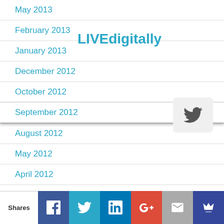May 2013
February 2013
LIVEdigitally
January 2013
December 2012
[Figure (other): Twitter follow widget button with bird icon]
October 2012
September 2012
August 2012
May 2012
April 2012
March 2012
February 2012
January 2012
December 2011
November 2011
Shares | Facebook | Twitter | LinkedIn | Google+ | Email | Crown